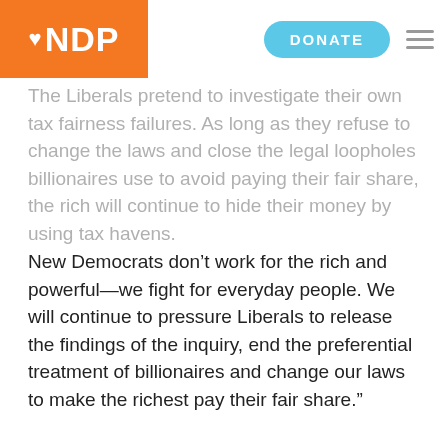NDP | DONATE [menu]
The Liberals pretend to investigate their own tax fairness failures. As long as they refuse to change the laws and close the legal loopholes billionaires use to avoid paying their fair share, the rich will continue to hide their money by using tax havens.
New Democrats don’t work for the rich and powerful—we fight for everyday people. We will continue to pressure Liberals to release the findings of the inquiry, end the preferential treatment of billionaires and change our laws to make the richest pay their fair share.”